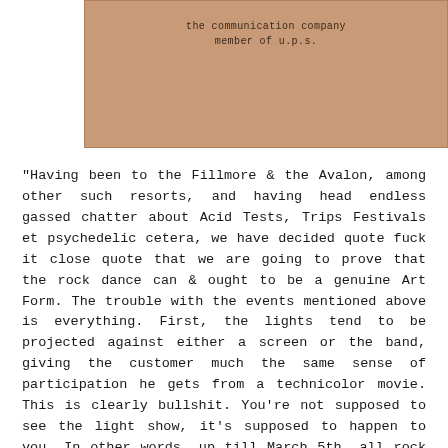[Figure (photo): Photograph of a brown paper envelope or card with typewritten text reading 'the communication company member of u.p.s.']
"Having been to the Fillmore & the Avalon, among other such resorts, and having head endless gassed chatter about Acid Tests, Trips Festivals et psychedelic cetera, we have decided quote fuck it close quote that we are going to prove that the rock dance can & ought to be a genuine Art Form. The trouble with the events mentioned above is everything. First, the lights tend to be projected against either a screen or the band, giving the customer much the same sense of participation he gets from a technicolor movie. This is clearly bullshit. You're not supposed to see the light show, it's supposed to happen to you... In other words, up till March 5th, all rock dances & similar shivarees have